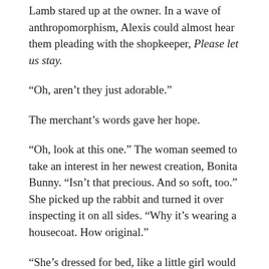Lamb stared up at the owner. In a wave of anthropomorphism, Alexis could almost hear them pleading with the shopkeeper, Please let us stay.
“Oh, aren’t they just adorable.”
The merchant’s words gave her hope.
“Oh, look at this one.” The woman seemed to take an interest in her newest creation, Bonita Bunny. “Isn’t that precious. And so soft, too.” She picked up the rabbit and turned it over inspecting it on all sides. “Why it’s wearing a housecoat. How original.”
“She’s dressed for bed, like a little girl would be.”